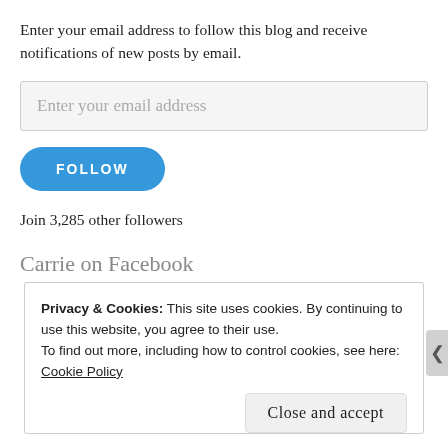Enter your email address to follow this blog and receive notifications of new posts by email.
Enter your email address
FOLLOW
Join 3,285 other followers
Carrie on Facebook
Privacy & Cookies: This site uses cookies. By continuing to use this website, you agree to their use.
To find out more, including how to control cookies, see here:
Cookie Policy
Close and accept